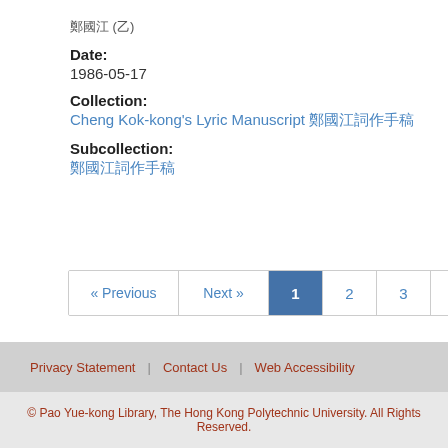鄭國江 (乙)
Date:
1986-05-17
Collection:
Cheng Kok-kong's Lyric Manuscript 鄭國江詞作手稿
Subcollection:
鄭國江詞作手稿
Privacy Statement | Contact Us | Web Accessibility
© Pao Yue-kong Library, The Hong Kong Polytechnic University. All Rights Reserved.